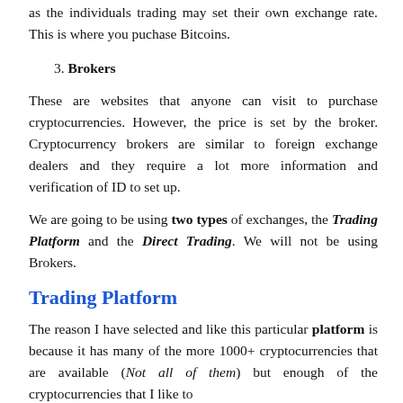as the individuals trading may set their own exchange rate. This is where you puchase Bitcoins.
3. Brokers
These are websites that anyone can visit to purchase cryptocurrencies. However, the price is set by the broker. Cryptocurrency brokers are similar to foreign exchange dealers and they require a lot more information and verification of ID to set up.
We are going to be using two types of exchanges, the Trading Platform and the Direct Trading. We will not be using Brokers.
Trading Platform
The reason I have selected and like this particular platform is because it has many of the more 1000+ cryptocurrencies that are available (Not all of them) but enough of the cryptocurrencies that I like to